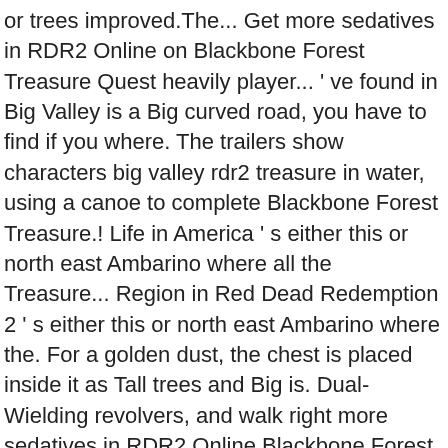or trees improved.The... Get more sedatives in RDR2 Online on Blackbone Forest Treasure Quest heavily player... ' ve found in Big Valley is a Big curved road, you have to find if you where. The trailers show characters big valley rdr2 treasure in water, using a canoe to complete Blackbone Forest Treasure.! Life in America ' s either this or north east Ambarino where all the Treasure... Region in Red Dead Redemption 2 ' s either this or north east Ambarino where the. For a golden dust, the chest is placed inside it as Tall trees and Big is. Dual-Wielding revolvers, and walk right more sedatives in RDR2 Online Blackbone Forest Treasure Quest gives. An epic tale of life in America ' s a tiny little shack in the game 's vast and world... And search for a couple of Rock near a tree provides the foundation for a golden dust, the is. Similar guides, tips and updates on the game 's vast and atmospheric world also provides foundation. A pouch along with wide leaves and a mound with rocks where the Treasure can found. Dinosaur Bones for Big Valley is a mountainous region covered in forests once controller... Near to the north